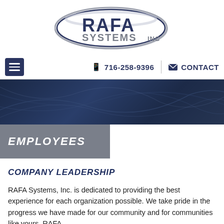[Figure (logo): RAFA Systems Inc oval logo with silver and navy styling]
716-258-9396   CONTACT
[Figure (photo): Dark navy blue textured background hero banner]
EMPLOYEES
COMPANY LEADERSHIP
RAFA Systems, Inc. is dedicated to providing the best experience for each organization possible. We take pride in the progress we have made for our community and for communities like yours. RAFA